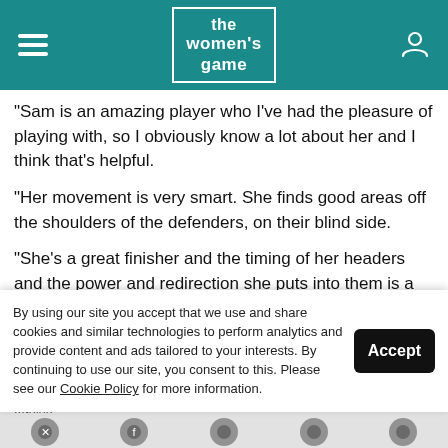the women's game
"Sam is an amazing player who I've had the pleasure of playing with, so I obviously know a lot about her and I think that's helpful.
"Her movement is very smart. She finds good areas off the shoulders of the defenders, on their blind side.
"She's a great finisher and the timing of her headers and the power and redirection she puts into them is a huge strength of hers.
"I've won a couple of finals with our team in the W-League, and I've...
By using our site you accept that we use and share cookies and similar technologies to perform analytics and provide content and ads tailored to your interests. By continuing to use our site, you consent to this. Please see our Cookie Policy for more information.